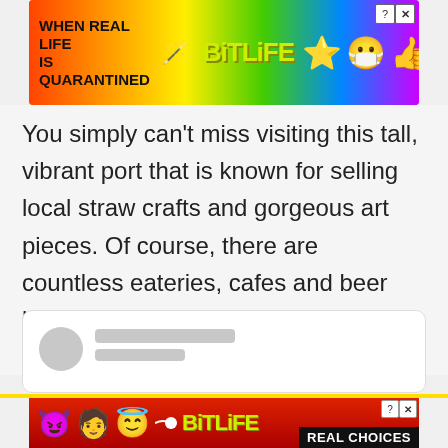[Figure (screenshot): BitLife mobile game advertisement banner at top with rainbow background, text 'WHEN REAL LIFE IS QUARANTINED' and BitLife logo with emoji characters]
You simply can't miss visiting this tall, vibrant port that is known for selling local straw crafts and gorgeous art pieces. Of course, there are countless eateries, cafes and beer bars that you can hang out in with your family and friends.
[Figure (screenshot): Comment section placeholder with circular avatar and blurred name lines]
[Figure (screenshot): BitLife mobile game advertisement banner at bottom with red background showing devil emoji, person emoji, angel emoji, sperm icon, BitLife logo and 'REAL CHOICES' text]